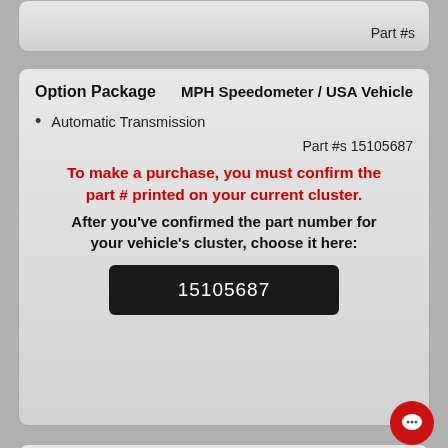Part #s
Option Package    MPH Speedometer / USA Vehicle
Automatic Transmission
Part #s 15105687
To make a purchase, you must confirm the part # printed on your current cluster. After you've confirmed the part number for your vehicle's cluster, choose it here:
15105687
Option Package    MPH Speedometer / USA Vehicle
Automatic Transmission
Classic Style (Creased Door Skin)
Part #s 15105687
To make a purchase, you must confirm the